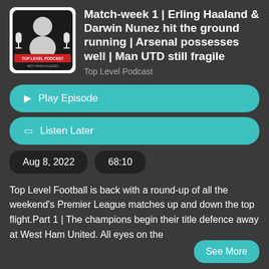[Figure (logo): Top Level Podcast logo with microphone icons and text 'TOP LEVEL PODCAST with SHAKA ALEXEN']
Match-week 1 | Erling Haaland & Darwin Nunez hit the ground running | Arsenal possesses well | Man UTD still fragile
Top Level Podcast
▶ Play Episode
☐ Listen Later
Aug 8, 2022
68:10
Top Level Football is back with a round-up of all the weekend's Premier League matches up and down the top flight.Part 1 | The champions begin their title defence away at West Ham United. All eyes on the
See More